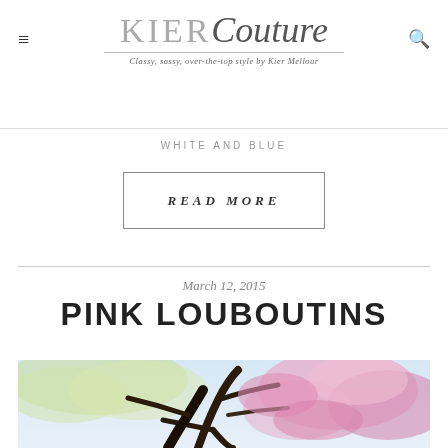KIER Couture — Classy, sassy, over-the-top style by Kier Mellour
WHITE AND BLUE
READ MORE
March 12, 2015
PINK LOUBOUTINS
[Figure (photo): Outdoor photo showing blooming cherry blossom and magnolia trees with dark branches against a light sky]